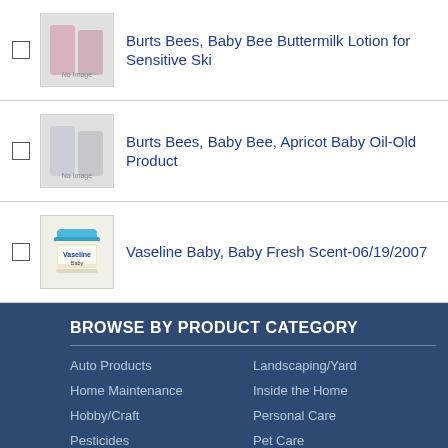Burts Bees, Baby Bee Buttermilk Lotion for Sensitive Ski
Burts Bees, Baby Bee, Apricot Baby Oil-Old Product
Vaseline Baby, Baby Fresh Scent-06/19/2007
BROWSE BY PRODUCT CATEGORY
Auto Products
Landscaping/Yard
Home Maintenance
Inside the Home
Hobby/Craft
Personal Care
Pesticides
Pet Care
Home Office
Commercial / Institutional
Note: Brand/Trade Names are trademarks of their respective holders.
© 2001-2022 DeLima Associates. All rights reserved